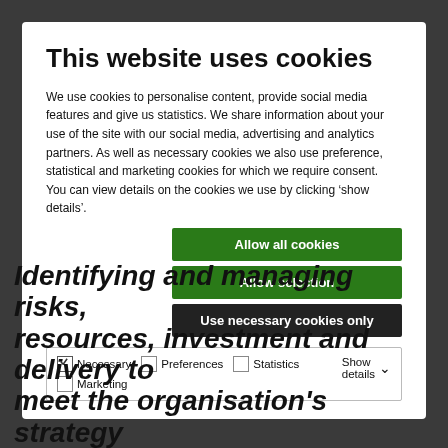This website uses cookies
We use cookies to personalise content, provide social media features and give us statistics. We share information about your use of the site with our social media, advertising and analytics partners. As well as necessary cookies we also use preference, statistical and marketing cookies for which we require consent.  You can view details on the cookies we use by clicking ‘show details’.
Allow all cookies
Allow selection
Use necessary cookies only
Necessary  Preferences  Statistics  Marketing  Show details
Identifying and managing risks, resources, investment and delivery to meet the organisation’s strategy